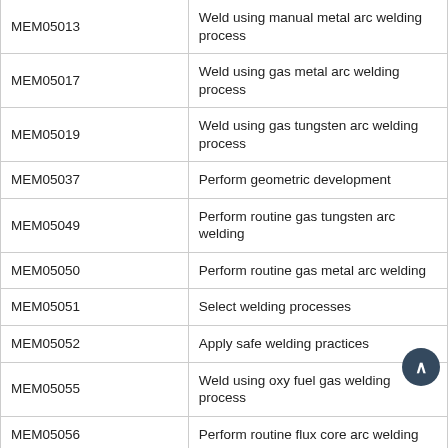| Code | Description |
| --- | --- |
| MEM05013 | Weld using manual metal arc welding process |
| MEM05017 | Weld using gas metal arc welding process |
| MEM05019 | Weld using gas tungsten arc welding process |
| MEM05037 | Perform geometric development |
| MEM05049 | Perform routine gas tungsten arc welding |
| MEM05050 | Perform routine gas metal arc welding |
| MEM05051 | Select welding processes |
| MEM05052 | Apply safe welding practices |
| MEM05055 | Weld using oxy fuel gas welding process |
| MEM05056 | Perform routine flux core arc welding |
| MEM05057 | Perform routine submerged arc welding |
| MEM09011 | Apply basic engineering design concepts |